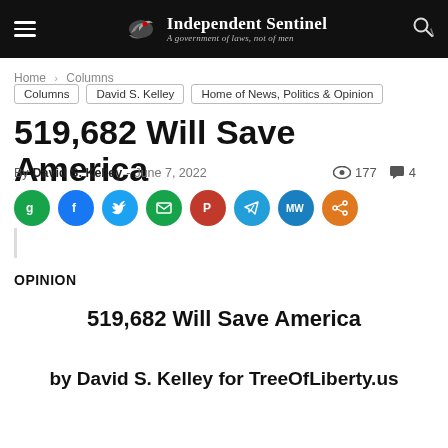Independent Sentinel — A government of laws, not of men
Home › Columns
Columns | David S. Kelley | Home of News, Politics & Opinion
519,682 Will Save America
By David S. Kelley - June 7, 2022  177  4
[Figure (infographic): Row of social sharing buttons: Gab (green), Facebook (blue), Twitter (light blue), Email (green), Parler (red), Telegram (blue), MeWe (dark blue), Share (orange)]
OPINION
519,682 Will Save America
by David S. Kelley for TreeOfLiberty.us